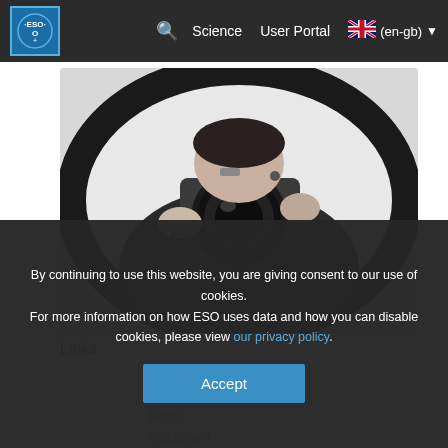ESO — Science | User Portal | (en-gb)
[Figure (photo): Black and white photo of a person holding a DSLR camera up to their face, shot with a fisheye/circular lens effect]
Links
Image archive
500px
Flickr
Instagram
By continuing to use this website, you are giving consent to our use of cookies.
For more information on how ESO uses data and how you can disable cookies, please view our privacy policy.
Accept